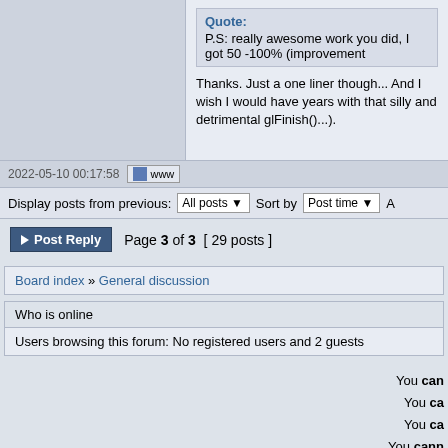Quote: P.S: really awesome work you did, I got 50 -100% ( improvement
Thanks. Just a one liner though... And I wish I would have years with that silly and detrimental glFinish()...).
2022-05-10 00:17:58
Display posts from previous: All posts  Sort by  Post time
Post Reply  Page 3 of 3  [ 29 posts ]
Board index » General discussion
Who is online
Users browsing this forum: No registered users and 2 guests
You cann You ca You ca You cann You canne
Search for:  Go  Jump to: